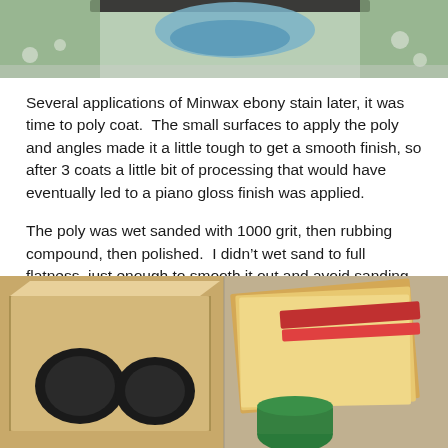[Figure (photo): Top portion of a photo showing a person wearing a blue glove working on a project, with blossoming tree branches visible in the background.]
Several applications of Minwax ebony stain later, it was time to poly coat.  The small surfaces to apply the poly and angles made it a little tough to get a smooth finish, so after 3 coats a little bit of processing that would have eventually led to a piano gloss finish was applied.
The poly was wet sanded with 1000 grit, then rubbing compound, then polished.  I didn’t wet sand to full flatness, just enough to smooth it out and avoid sanding all the way through the poly.
[Figure (photo): Bottom photo showing a wooden speaker box with circular cutouts on the left side, and sandpaper sheets with a green container visible on the right side.]